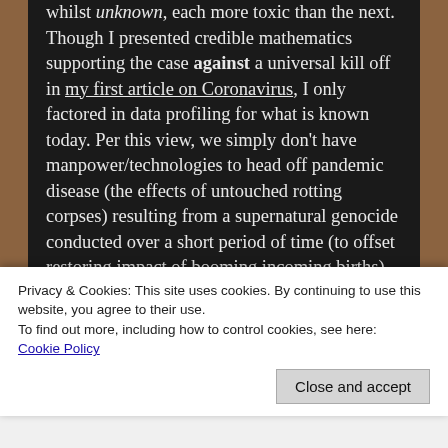whilst unknown, each more toxic than the next. Though I presented credible mathematics supporting the case against a universal kill off in my first article on Coronavirus, I only factored in data profiling for what is known today. Per this view, we simply don't have manpower/technologies to head off pandemic disease (the effects of untouched rotting corpses) resulting from a supernatural genocide conducted over a short period of time (to offset restoring impact of booming incoming births). Yet, if alien technologies were deployed, drafting current “in service” troops from all four corners of the globe, both trained in the art
Privacy & Cookies: This site uses cookies. By continuing to use this website, you agree to their use.
To find out more, including how to control cookies, see here: Cookie Policy
Close and accept